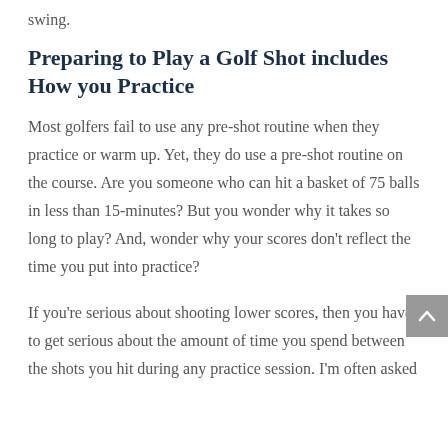swing.
Preparing to Play a Golf Shot includes How you Practice
Most golfers fail to use any pre-shot routine when they practice or warm up.  Yet, they do use a pre-shot routine on the course.  Are you someone who can hit a basket of 75 balls in less than 15-minutes?  But you wonder why it takes so long to play? And, wonder why your scores don’t reflect the time you put into practice?
If you’re serious about shooting lower scores, then you have to get serious about the amount of time you spend between the shots you hit during any practice session.  I’m often asked